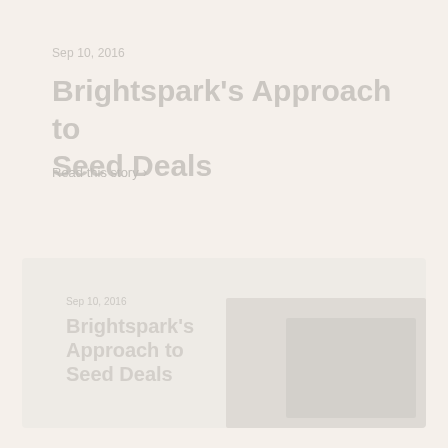Sep 10, 2016
Brightspark's Approach to Seed Deals
Read this story >
[Figure (screenshot): A faded card preview section at the bottom showing another article with text and an image placeholder]